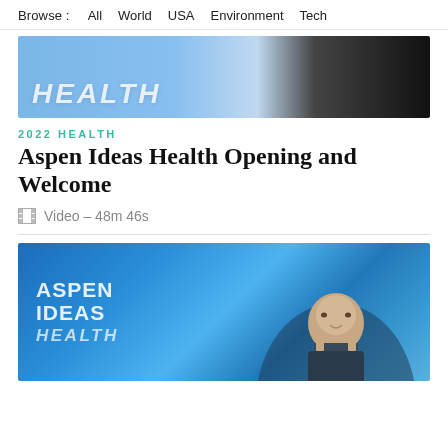Browse : All World USA Environment Tech
[Figure (photo): Banner image showing 'HEALTH' text in white on a blue background, with a dark/black section on the right]
2022 HEALTH
Aspen Ideas Health Opening and Welcome
Video – 48m 46s
[Figure (photo): Video thumbnail showing 'ASPEN IDEAS HEALTH' logo on blue background with a man in a suit on the right side]